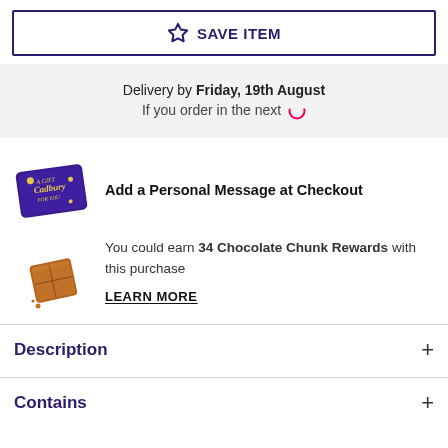SAVE ITEM
Delivery by Friday, 19th August. If you order in the next [spinner]
Add a Personal Message at Checkout
You could earn 34 Chocolate Chunk Rewards with this purchase
LEARN MORE
Description
Contains